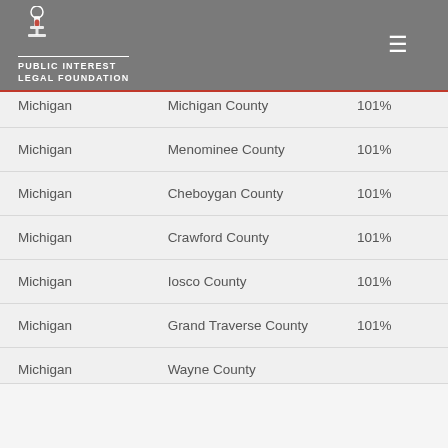PUBLIC INTEREST LEGAL FOUNDATION
| State | County | Percentage |
| --- | --- | --- |
| Michigan | Michigan County | 101% |
| Michigan | Menominee County | 101% |
| Michigan | Cheboygan County | 101% |
| Michigan | Crawford County | 101% |
| Michigan | Iosco County | 101% |
| Michigan | Grand Traverse County | 101% |
| Michigan | Wayne County | 101% |